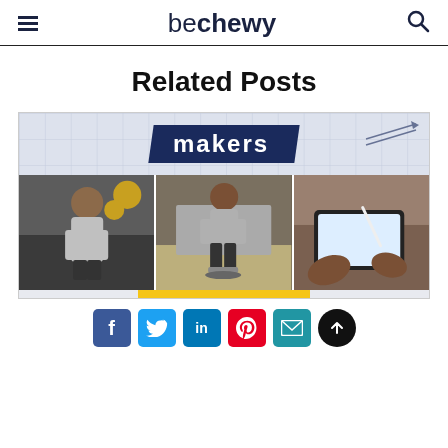beChewy
Related Posts
[Figure (photo): A collage image with 'makers' text banner over a grid background, and three photos of a Black man in a creative workspace — standing at a table, sitting on a chair, and a close-up of hands writing on a tablet.]
[Figure (infographic): Social share buttons: Facebook, Twitter, LinkedIn, Pinterest, Email, and a scroll-to-top button]